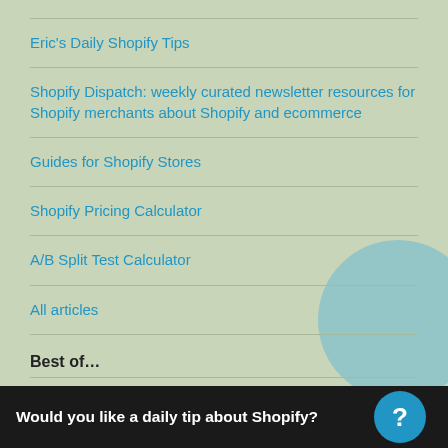Eric's Daily Shopify Tips
Shopify Dispatch: weekly curated newsletter resources for Shopify merchants about Shopify and ecommerce
Guides for Shopify Stores
Shopify Pricing Calculator
A/B Split Test Calculator
All articles
Best of…
Repeat Purchase Rate, and how to calculate it
Would you like a daily tip about Shopify?